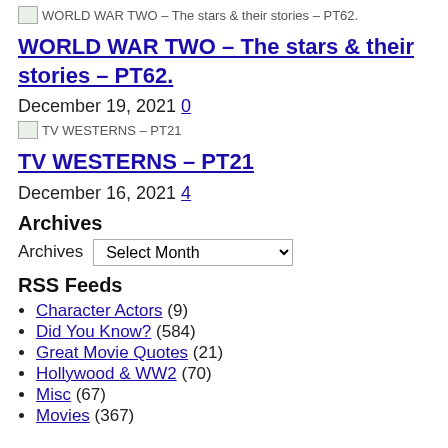[Figure (photo): Small broken image placeholder for WORLD WAR TWO – The stars & their stories – PT62.]
WORLD WAR TWO – The stars & their stories – PT62.
December 19, 2021 0
[Figure (photo): Small broken image placeholder for TV WESTERNS – PT21]
TV WESTERNS – PT21
December 16, 2021 4
Archives
Archives  Select Month
RSS Feeds
Character Actors (9)
Did You Know? (584)
Great Movie Quotes (21)
Hollywood & WW2 (70)
Misc (67)
Movies (367)